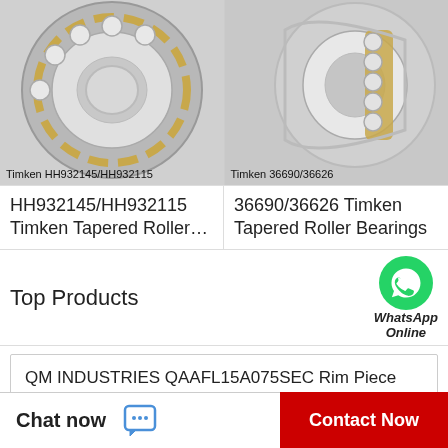[Figure (photo): Photo of Timken HH932145/HH932115 tapered roller bearing, metallic silver with gold cage]
Timken HH932145/HH932115
[Figure (photo): Photo of Timken 36690/36626 tapered roller bearing, metallic silver with gold cage]
Timken 36690/36626
HH932145/HH932115 Timken Tapered Roller…
36690/36626 Timken Tapered Roller Bearings
Top Products
[Figure (logo): WhatsApp green circle icon with phone handset]
WhatsApp Online
QM INDUSTRIES QAAFL15A075SEC Rim Piece Bearings
RBC BEARINGS 32NBK2052YZP Indicator Engine Roller Bearings
Chat now
Contact Now